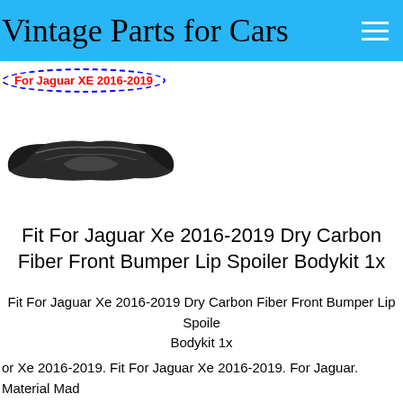Vintage Parts for Cars
For Jaguar XE 2016-2019
[Figure (photo): Carbon fiber front bumper lip spoiler for Jaguar XE 2016-2019]
Fit For Jaguar Xe 2016-2019 Dry Carbon Fiber Front Bumper Lip Spoiler Bodykit 1x
Fit For Jaguar Xe 2016-2019 Dry Carbon Fiber Front Bumper Lip Spoiler Bodykit 1x
or Xe 2016-2019. Fit For Jaguar Xe 2016-2019. For Jaguar. Material Made Of High Quality Carbon Fiber. Clean Surface And Remove Any Dirt, Oils